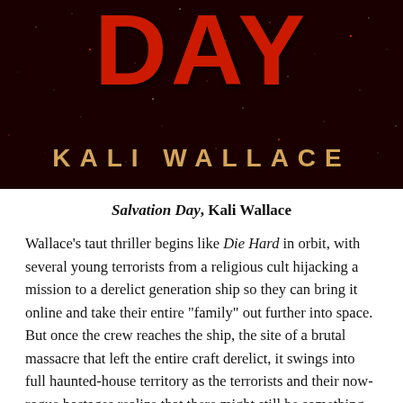[Figure (illustration): Book cover of 'Salvation Day' by Kali Wallace. Dark red/black starry background with large red distressed 'DAY' text at top and gold author name 'KALI WALLACE' in wide spaced capitals at bottom.]
Salvation Day, Kali Wallace
Wallace's taut thriller begins like Die Hard in orbit, with several young terrorists from a religious cult hijacking a mission to a derelict generation ship so they can bring it online and take their entire “family” out further into space. But once the crew reaches the ship, the site of a brutal massacre that left the entire craft derelict, it swings into full haunted-house territory as the terrorists and their now-rogue hostages realize that there might still be something living within